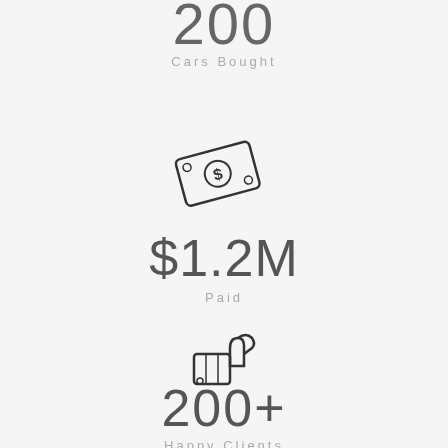200
Cars Bought
[Figure (illustration): Dollar bill / money icon with $ symbol]
$1.2M
Paid
[Figure (illustration): Thumbs up / like icon]
200+
Happy Clients